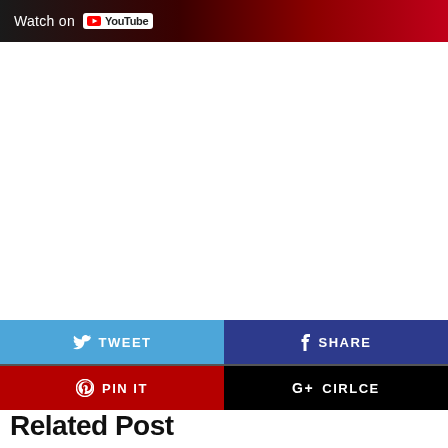[Figure (screenshot): YouTube video thumbnail bar with 'Watch on YouTube' text and logo on dark red background]
[Figure (infographic): Social share buttons: Tweet (light blue), Share/Facebook (dark blue), Pin It (red), Cirlce/Google+ (black)]
Related Post